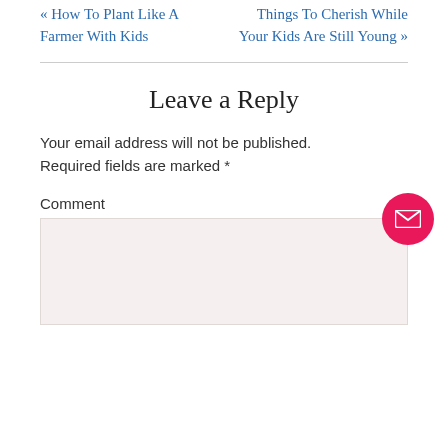« How To Plant Like A Farmer With Kids
Things To Cherish While Your Kids Are Still Young »
Leave a Reply
Your email address will not be published. Required fields are marked *
Comment
[Figure (other): Email contact button — pink circle with white envelope icon]